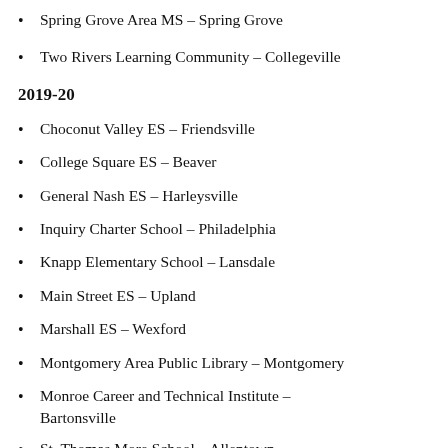Spring Grove Area MS – Spring Grove
Two Rivers Learning Community – Collegeville
2019-20
Choconut Valley ES – Friendsville
College Square ES – Beaver
General Nash ES – Harleysville
Inquiry Charter School – Philadelphia
Knapp Elementary School – Lansdale
Main Street ES – Upland
Marshall ES – Wexford
Montgomery Area Public Library – Montgomery
Monroe Career and Technical Institute – Bartonsville
St. Thomas More School – Allentown
Stetser ES – Chester
Toby Farms Intermediate School – Brookhaven